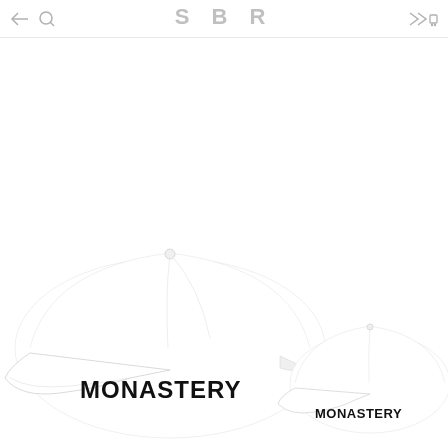SBR
[Figure (photo): Two white baseball caps with 'MONASTERY' text embroidered on the front, shown from behind/side angle. The left cap is larger and more prominent, the right cap is smaller. Both caps are white with black lettering.]